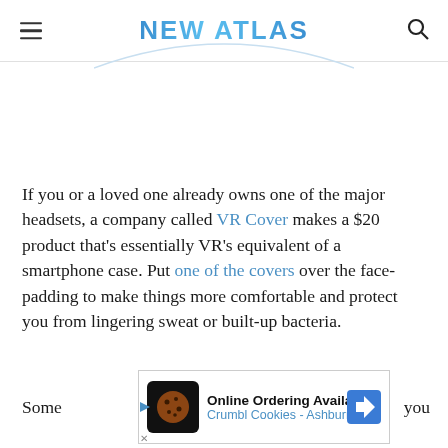NEW ATLAS
If you or a loved one already owns one of the major headsets, a company called VR Cover makes a $20 product that's essentially VR's equivalent of a smartphone case. Put one of the covers over the face-padding to make things more comfortable and protect you from lingering sweat or built-up bacteria.
[Figure (infographic): Advertisement banner: Online Ordering Available, Crumbl Cookies - Ashburn]
Some ... you